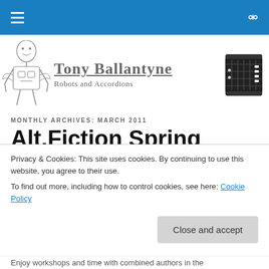Navigation bar with hamburger menu and search icon
[Figure (illustration): Sketch of a robot figure (humanoid with mechanical body)]
Tony Ballantyne
Robots and Accordions
[Figure (illustration): Drawing of an accordion instrument]
MONTHLY ARCHIVES: MARCH 2011
Alt.Fiction Spring Writing Weekend
Privacy & Cookies: This site uses cookies. By continuing to use this website, you agree to their use.
To find out more, including how to control cookies, see here: Cookie Policy
Enjoy workshops and time with combined authors in the